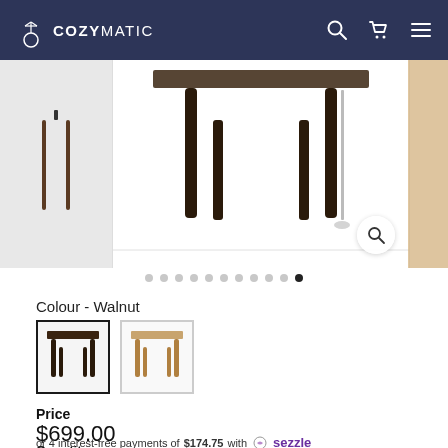COZYMATIC
[Figure (photo): Product photo of a walnut dining table with dark legs, shown from above center. Left and right thumbnail panels visible. Magnify icon in bottom-right corner of center image.]
Colour - Walnut
[Figure (photo): Two colour swatch thumbnails: first (selected, dark border) shows table with dark/walnut legs, second shows table with lighter natural wood legs.]
Price
$699.00
or 4 interest-free payments of $174.75 with  sezzle
Quantity